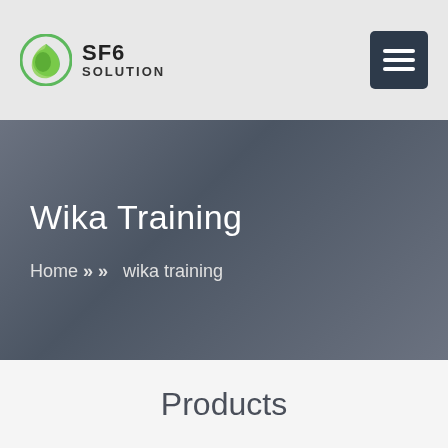SF6 SOLUTION
Wika Training
Home >> >> wika training
Products